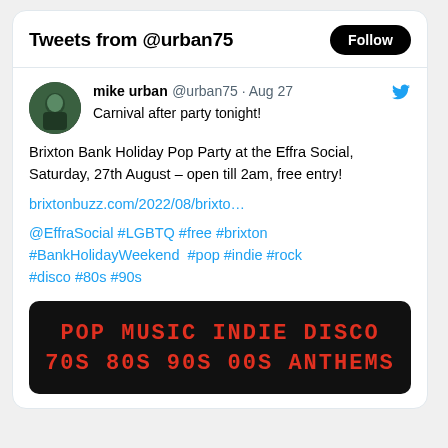Tweets from @urban75
mike urban @urban75 · Aug 27
Carnival after party tonight!

Brixton Bank Holiday Pop Party at the Effra Social, Saturday, 27th August – open till 2am, free entry!

brixtonbuzz.com/2022/08/brixto…

@EffraSocial #LGBTQ #free #brixton #BankHolidayWeekend #pop #indie #rock #disco #80s #90s
[Figure (other): Black banner with red retro pixel-font text reading 'POP MUSIC INDIE DISCO 70S 80S 90S 00S ANTHEMS']